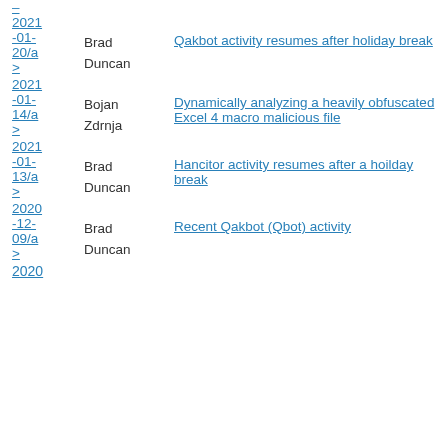2021-01-20/a> Brad Duncan — Oakbot activity resumes after holiday break
2021-01-14/a> Bojan Zdrnja — Dynamically analyzing a heavily obfuscated Excel 4 macro malicious file
2021-01-13/a> Brad Duncan — Hancitor activity resumes after a hoilday break
2020-12-09/a> Brad Duncan — Recent Qakbot (Qbot) activity
2020